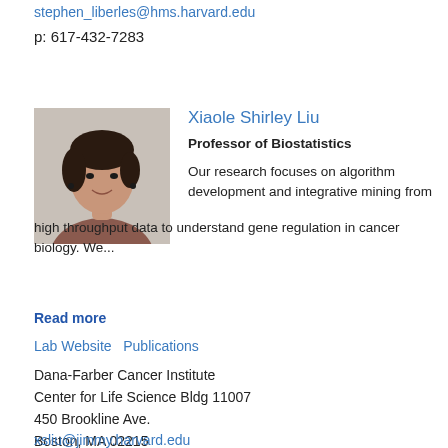stephen_liberles@hms.harvard.edu
p: 617-432-7283
[Figure (photo): Headshot photo of Xiaole Shirley Liu]
Xiaole Shirley Liu
Professor of Biostatistics
Our research focuses on algorithm development and integrative mining from high throughput data to understand gene regulation in cancer biology. We...
Read more
Lab Website   Publications
Dana-Farber Cancer Institute
Center for Life Science Bldg 11007
450 Brookline Ave.
Boston, MA 02215
xsliu@jimmy.harvard.edu